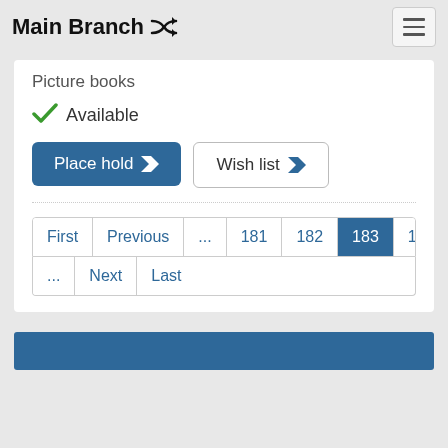Main Branch ⇌
Picture books
✓ Available
Place hold ➤
Wish list ➤
First | Previous | ... | 181 | 182 | 183 | 184 | 185
... | Next | Last